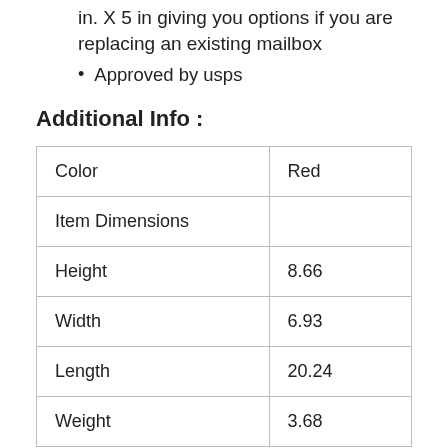in. X 5 in giving you options if you are replacing an existing mailbox
Approved by usps
Additional Info :
| Color | Red |
| Item Dimensions |  |
| Height | 8.66 |
| Width | 6.93 |
| Length | 20.24 |
| Weight | 3.68 |